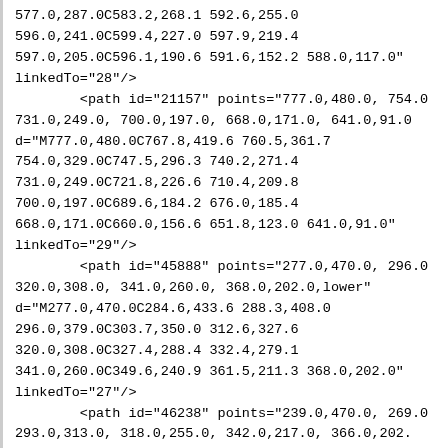577.0,287.0C583.2,268.1 592.6,255.0
596.0,241.0C599.4,227.0 597.9,219.4
597.0,205.0C596.1,190.6 591.6,152.2 588.0,117.0"
linkedTo="28"/>
        <path id="21157" points="777.0,480.0, 754.0
731.0,249.0, 700.0,197.0, 668.0,171.0, 641.0,91.0
d="M777.0,480.0C767.8,419.6 760.5,361.7
754.0,329.0C747.5,296.3 740.2,271.4
731.0,249.0C721.8,226.6 710.4,209.8
700.0,197.0C689.6,184.2 676.0,185.4
668.0,171.0C660.0,156.6 651.8,123.0 641.0,91.0"
linkedTo="29"/>
        <path id="45888" points="277.0,470.0, 296.0
320.0,308.0, 341.0,260.0, 368.0,202.0,lower"
d="M277.0,470.0C284.6,433.6 288.3,408.0
296.0,379.0C303.7,350.0 312.6,327.6
320.0,308.0C327.4,288.4 332.4,279.1
341.0,260.0C349.6,240.9 361.5,211.3 368.0,202.0"
linkedTo="27"/>
        <path id="46238" points="239.0,470.0, 269.0
293.0,313.0, 318.0,255.0, 342.0,217.0, 366.0,202.
d="M239.0,470.0C251.0,434.8 259.5,409.6
269.0,382.0C278.5,354.4 283.9,336.6